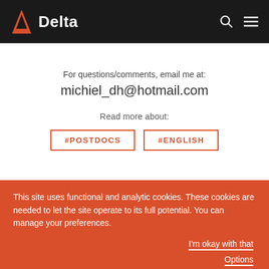Delta
For questions/comments, email me at:
michiel_dh@hotmail.com
Read more about:
#POSTDOCS
#ENGLISH
This site uses functional and analytic cookies. These cookies are needed to let the site operate to its full potential. You can manage your preferences.
I'm okay with that
Options